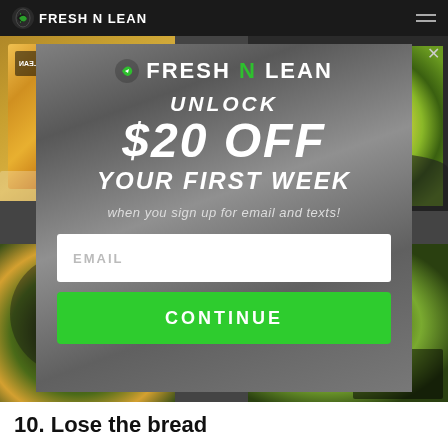FRESH N LEAN
[Figure (screenshot): Fresh N Lean promotional popup modal overlay on a food delivery website. The modal shows the Fresh N Lean logo, text 'UNLOCK $20 OFF YOUR FIRST WEEK when you sign up for email and texts!', an EMAIL input field, and a green CONTINUE button. The background shows food photos around the edges.]
10. Lose the bread